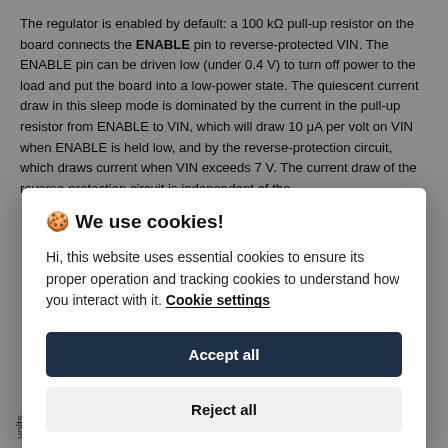The regulator is enabled by default: a 100 kΩ pull-up resistor on the board connects the ENABLE pin to reverse-protected VIN. The ENABLE pin can be driven low (under 0.4 V) to turn off power to the load and put the board into a low-power state. The quiescent current draw in this sleep mode is dominated by the current in the pull-up resistor from ENABLE to VIN, which will draw 10 μA per volt on VIN when ENABLE is held low, and by the reverse-protection circuit, which draws current when VIN exceeds 7 V. The current draw of the reverse-protection circuit is independent of the
[Figure (screenshot): Cookie consent modal dialog overlay. Title: '🍪 We use cookies!' Body text: 'Hi, this website uses essential cookies to ensure its proper operation and tracking cookies to understand how you interact with it. Cookie settings' Buttons: 'Accept all' (dark navy), 'Reject all' (light grey).]
[Figure (other): Partial bottom strip showing y-axis label 'volts' and tick value '10' from a chart, partially obscured.]